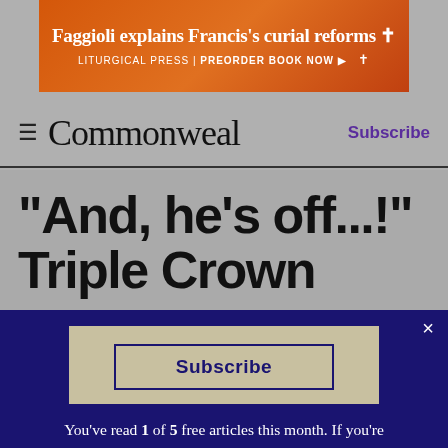[Figure (other): Orange advertisement banner for Liturgical Press book: 'Faggioli explains Francis's curial reforms' with preorder call to action]
≡ Commonweal    Subscribe
"And, he's off...!" Triple Crown
[Figure (other): Paywall modal overlay with subscribe button and message: You've read 1 of 5 free articles this month. If you're already a subscriber, please sign in here. If you'd like to help support Commonweal's independent journalism, become a subscriber: just click the "subscribe" button for details.]